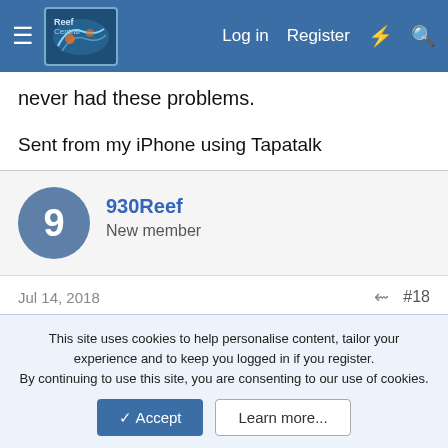Reef Central — Log in | Register
never had these problems.
Sent from my iPhone using Tapatalk
930Reef
New member
Jul 14, 2018  #18
Sooooo,

tried aiptasia x today on it. The curved tip of the syringe worked well to get under the monti cap. It was a couple of hours ago,
This site uses cookies to help personalise content, tailor your experience and to keep you logged in if you register.
By continuing to use this site, you are consenting to our use of cookies.